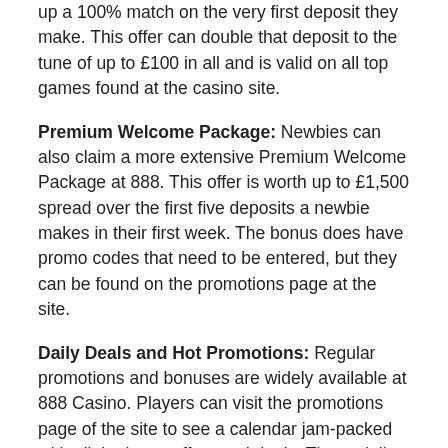up a 100% match on the very first deposit they make. This offer can double that deposit to the tune of up to £100 in all and is valid on all top games found at the casino site.
Premium Welcome Package: Newbies can also claim a more extensive Premium Welcome Package at 888. This offer is worth up to £1,500 spread over the first five deposits a newbie makes in their first week. The bonus does have promo codes that need to be entered, but they can be found on the promotions page at the site.
Daily Deals and Hot Promotions: Regular promotions and bonuses are widely available at 888 Casino. Players can visit the promotions page of the site to see a calendar jam-packed with all the latest offers and deals. These daily offers can include free spins, free cash, access to tournaments, prize draws and giveaways as well as much more besides.
Other Promotions: 888 Casino offers specialist VIP deals which could be worth as much as £1,200 every day for high rollers. There are also live dealer casino promos, an £888